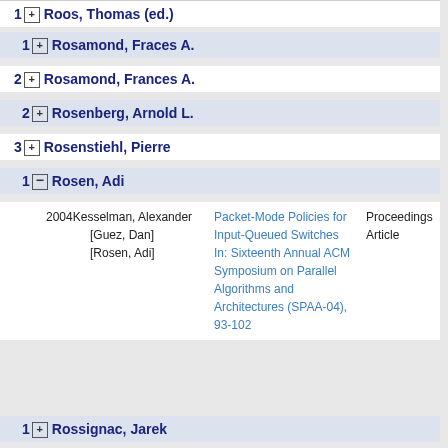1 Roos, Thomas (ed.)
1 Rosamond, Fraces A.
2 Rosamond, Frances A.
2 Rosenberg, Arnold L.
3 Rosenstiehl, Pierre
1 Rosen, Adi
2004 Kesselman, Alexander [Guez, Dan] [Rosen, Adi]
Packet-Mode Policies for Input-Queued Switches In: Sixteenth Annual ACM Symposium on Parallel Algorithms and Architectures (SPAA-04), 93-102
Proceedings Article
1 Rossignac, Jarek